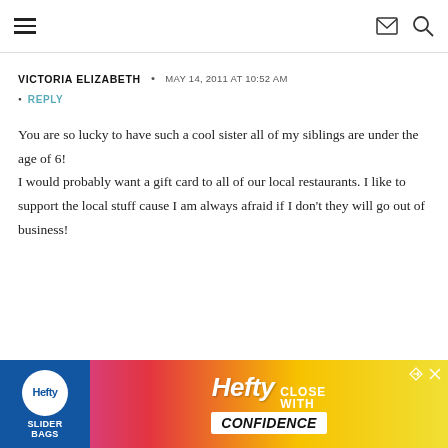Navigation header with hamburger menu, mail icon, and search icon
VICTORIA ELIZABETH • MAY 14, 2011 AT 10:52 AM
• REPLY
You are so lucky to have such a cool sister all of my siblings are under the age of 6! I would probably want a gift card to all of our local restaurants. I like to support the local stuff cause I am always afraid if I don't they will go out of business!
[Figure (other): Hefty Slider advertisement banner with colorful background. Text reads: Hefty CLOSE WITH CONFIDENCE]